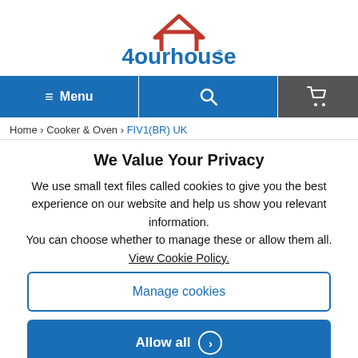[Figure (logo): 4ourhouse logo with red roof icon and blue text]
Menu | Search | Cart navigation bar
Home > Cooker & Oven > FIV1(BR) UK
We Value Your Privacy
We use small text files called cookies to give you the best experience on our website and help us show you relevant information.
You can choose whether to manage these or allow them all.
View Cookie Policy.
Manage cookies
Allow all